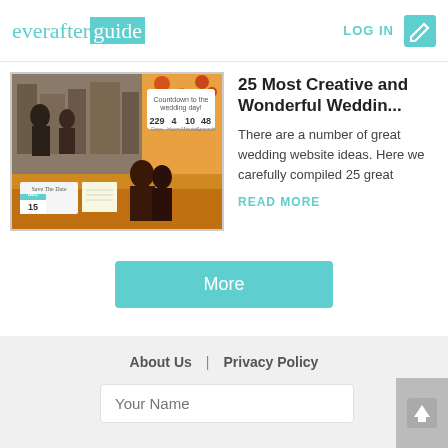everafterguide  LOG IN
[Figure (photo): Article thumbnail showing a collage with a wedding countdown website, a save the date calendar card (DEC 15), and silhouette of a couple]
25 Most Creative and Wonderful Weddin...
There are a number of great wedding website ideas. Here we carefully compiled 25 great
READ MORE
More
About Us  |  Privacy Policy
Your Name